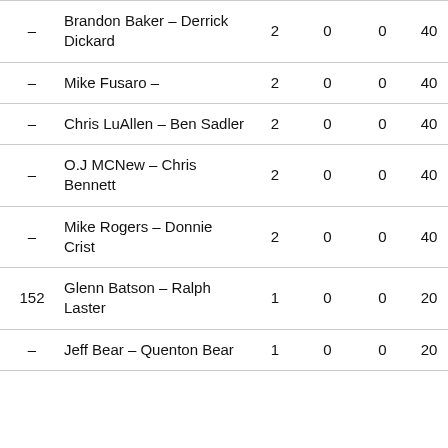| Rank | Name | Col1 | Col2 | Col3 | Col4 |
| --- | --- | --- | --- | --- | --- |
| – | Brandon Baker – Derrick Dickard | 2 | 0 | 0 | 40 |
| – | Mike Fusaro – | 2 | 0 | 0 | 40 |
| – | Chris LuAllen – Ben Sadler | 2 | 0 | 0 | 40 |
| – | O.J MCNew – Chris Bennett | 2 | 0 | 0 | 40 |
| – | Mike Rogers – Donnie Crist | 2 | 0 | 0 | 40 |
| 152 | Glenn Batson – Ralph Laster | 1 | 0 | 0 | 20 |
| – | Jeff Bear – Quenton Bear | 1 | 0 | 0 | 20 |